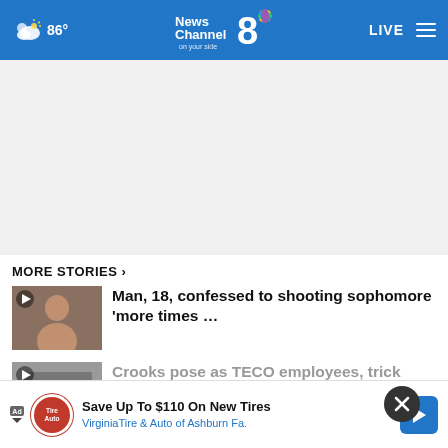86° News Channel 8 on your side LIVE
[Figure (screenshot): Advertisement area - blank white/gray space]
MORE STORIES ›
Man, 18, confessed to shooting sophomore 'more times …
Crooks pose as TECO employees, trick
Pinellas man admits to viewing child
[Figure (infographic): Advertisement banner: Save Up To $110 On New Tires - Virginia Tire & Auto of Ashburn Fa.]